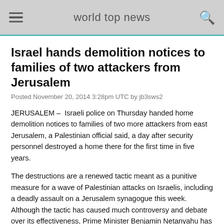world top news
Israel hands demolition notices to families of two attackers from Jerusalem
Posted November 20, 2014 3:28pm UTC by jb3sws2
JERUSALEM –  Israeli police on Thursday handed home demolition notices to families of two more attackers from east Jerusalem, a Palestinian official said, a day after security personnel destroyed a home there for the first time in five years.
The destructions are a renewed tactic meant as a punitive measure for a wave of Palestinian attacks on Israelis, including a deadly assault on a Jerusalem synagogue this week. Although the tactic has caused much controversy and debate over its effectiveness, Prime Minister Benjamin Netanyahu has stepped up the demolition orders in an effort to halt the violence.